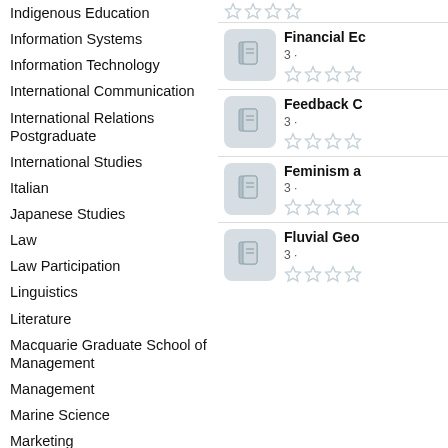Indigenous Education
Information Systems
Information Technology
International Communication
International Relations Postgraduate
International Studies
Italian
Japanese Studies
Law
Law Participation
Linguistics
Literature
Macquarie Graduate School of Management
Management
Marine Science
Marketing
Master of Commerce, Information Systems Technology
Mathematics
Media and Communication Studies
Media, Music and Cultural Studies
[Figure (screenshot): Card showing Financial Ec... with book icon, rating 3, and 4 empty stars]
[Figure (screenshot): Card showing Feedback C... with book icon, rating 3, and 4 empty stars]
[Figure (screenshot): Card showing Feminism a... with book icon, rating 3, and 4 empty stars]
[Figure (screenshot): Card showing Fluvial Geo... with book icon, rating 3, and 4 empty stars]